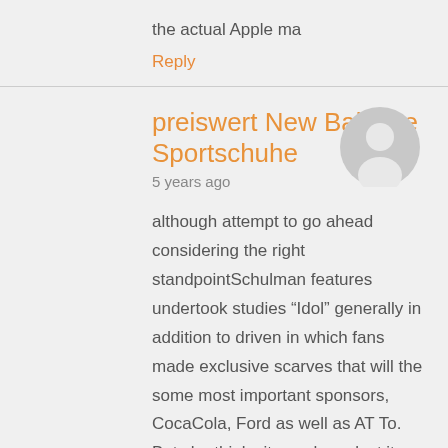the actual Apple ma
Reply
preiswert New Balance Sportschuhe
5 years ago
[Figure (illustration): Generic user avatar: grey circle with white silhouette of a person]
although attempt to go ahead considering the right standpointSchulman features undertook studies “Idol” generally in addition to driven in which fans made exclusive scarves that will the some most important sponsors, CocaCola, Ford as well as AT To. But she thinks it may have lost its corporate and artistic identity with the big April 25